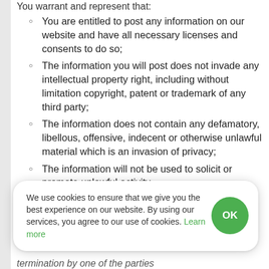You warrant and represent that:
You are entitled to post any information on our website and have all necessary licenses and consents to do so;
The information you will post does not invade any intellectual property right, including without limitation copyright, patent or trademark of any third party;
The information does not contain any defamatory, libellous, offensive, indecent or otherwise unlawful material which is an invasion of privacy;
The information will not be used to solicit or promote unlawful activity.
11. D
We use cookies to ensure that we give you the best experience on our website. By using our services, you agree to our use of cookies. Learn more
termination by one of the parties